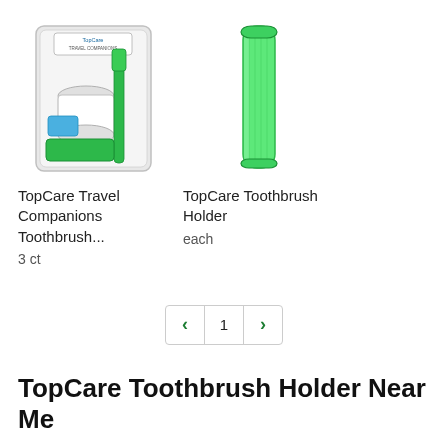[Figure (photo): Product image of TopCare Travel Companions Toothbrush set in clear plastic packaging with green toothbrush and accessories]
TopCare Travel Companions Toothbrush...
3 ct
[Figure (photo): Product image of TopCare Toothbrush Holder - a tall narrow green plastic tube/holder]
TopCare Toothbrush Holder
each
< 1 >
TopCare Toothbrush Holder Near Me
Buy your favorite TopCare Toothbrush Holder online with Instacart. Order TopCare Toothbrush Holder from local and